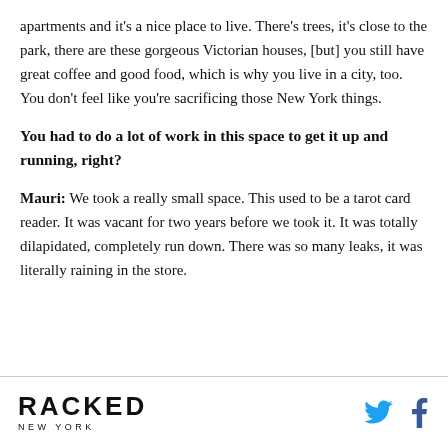apartments and it's a nice place to live. There's trees, it's close to the park, there are these gorgeous Victorian houses, [but] you still have great coffee and good food, which is why you live in a city, too. You don't feel like you're sacrificing those New York things.
You had to do a lot of work in this space to get it up and running, right?
Mauri: We took a really small space. This used to be a tarot card reader. It was vacant for two years before we took it. It was totally dilapidated, completely run down. There was so many leaks, it was literally raining in the store.
RACKED NEW YORK